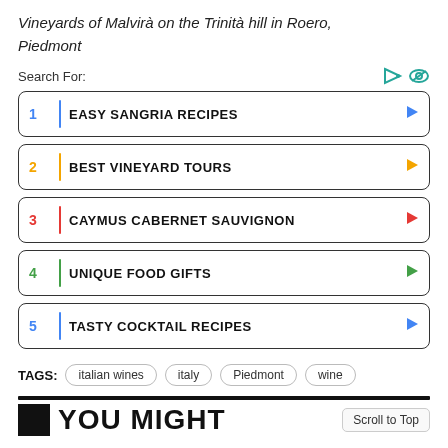Vineyards of Malvirà on the Trinità hill in Roero, Piedmont
Search For:
1  EASY SANGRIA RECIPES
2  BEST VINEYARD TOURS
3  CAYMUS CABERNET SAUVIGNON
4  UNIQUE FOOD GIFTS
5  TASTY COCKTAIL RECIPES
TAGS: italian wines  italy  Piedmont  wine
YOU MIGHT
Scroll to Top